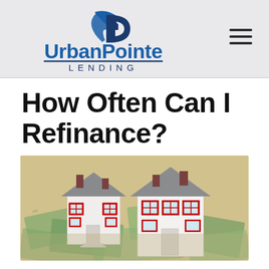[Figure (logo): UrbanPointe Lending logo with stylized UP letters above company name]
How Often Can I Refinance?
[Figure (photo): Two miniature white house models with gray roofs and red shutters sitting on top of US dollar bills]